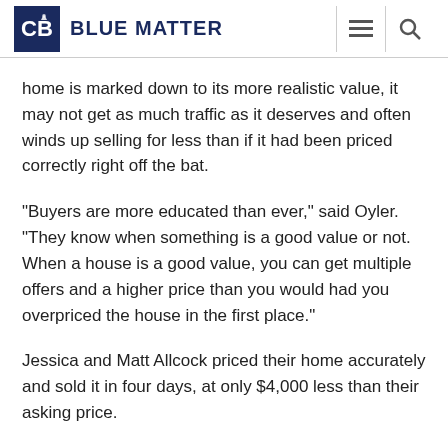BLUE MATTER
home is marked down to its more realistic value, it may not get as much traffic as it deserves and often winds up selling for less than if it had been priced correctly right off the bat.
“Buyers are more educated than ever,” said Oyler. “They know when something is a good value or not. When a house is a good value, you can get multiple offers and a higher price than you would had you overpriced the house in the first place.”
Jessica and Matt Allcock priced their home accurately and sold it in four days, at only $4,000 less than their asking price.
On the other hand, you don’t want to let the house go